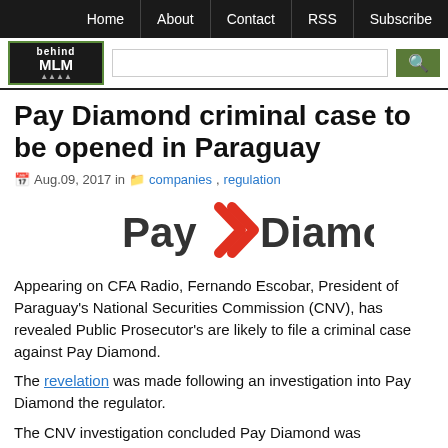Home | About | Contact | RSS | Subscribe
[Figure (logo): Behind MLM logo and site search bar with search button]
Pay Diamond criminal case to be opened in Paraguay
Aug.09, 2017 in companies, regulation
[Figure (logo): Pay Diamond logo with red double-arrow chevron between Pay and Diamond text]
Appearing on CFA Radio, Fernando Escobar, President of Paraguay's National Securities Commission (CNV), has revealed Public Prosecutor's are likely to file a criminal case against Pay Diamond.
The revelation was made following an investigation into Pay Diamond the regulator.
The CNV investigation concluded Pay Diamond was